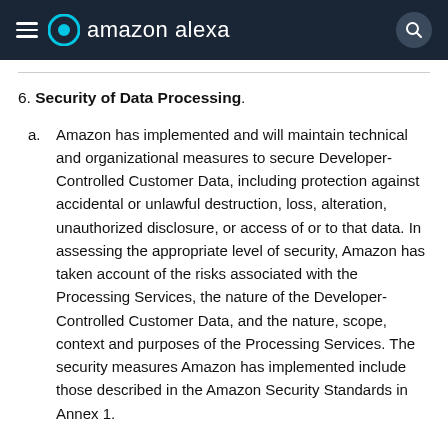amazon alexa
6. Security of Data Processing.
a. Amazon has implemented and will maintain technical and organizational measures to secure Developer-Controlled Customer Data, including protection against accidental or unlawful destruction, loss, alteration, unauthorized disclosure, or access of or to that data. In assessing the appropriate level of security, Amazon has taken account of the risks associated with the Processing Services, the nature of the Developer-Controlled Customer Data, and the nature, scope, context and purposes of the Processing Services. The security measures Amazon has implemented include those described in the Amazon Security Standards in Annex 1.